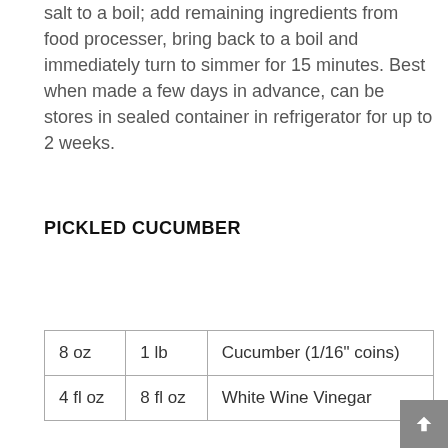salt to a boil; add remaining ingredients from food processer, bring back to a boil and immediately turn to simmer for 15 minutes. Best when made a few days in advance, can be stores in sealed container in refrigerator for up to 2 weeks.
PICKLED CUCUMBER
| 8 oz | 1 lb | Cucumber (1/16" coins) |
| 4 fl oz | 8 fl oz | White Wine Vinegar |